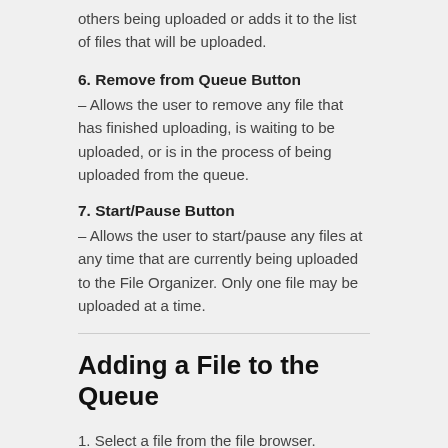others being uploaded or adds it to the list of files that will be uploaded.
6. Remove from Queue Button
– Allows the user to remove any file that has finished uploading, is waiting to be uploaded, or is in the process of being uploaded from the queue.
7. Start/Pause Button
– Allows the user to start/pause any files at any time that are currently being uploaded to the File Organizer. Only one file may be uploaded at a time.
Adding a File to the Queue
1. Select a file from the file browser.
2. Select a client (optional).
3. Enter a new title (optional).
4. Enter a comment (optional).
5. Click the Add to Queue button.